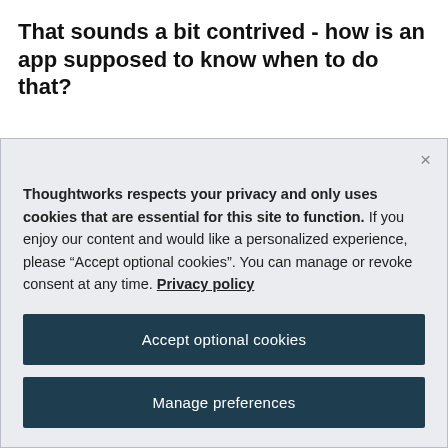That sounds a bit contrived - how is an app supposed to know when to do that?
[Figure (screenshot): Cookie consent modal dialog with close button (×), privacy notice text, 'Accept optional cookies' button, and 'Manage preferences' button on a light grey background.]
Thoughtworks respects your privacy and only uses cookies that are essential for this site to function. If you enjoy our content and would like a personalized experience, please “Accept optional cookies”. You can manage or revoke consent at any time. Privacy policy
Accept optional cookies
Manage preferences